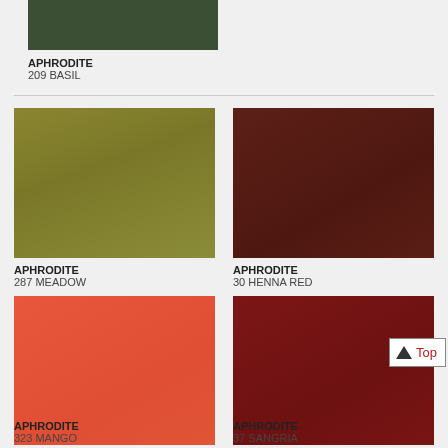[Figure (photo): Cropped dark green fabric swatch for APHRODITE 209 BASIL]
APHRODITE
209 BASIL
[Figure (photo): Olive/yellow-green fabric swatch for APHRODITE 287 MEADOW]
APHRODITE
287 MEADOW
[Figure (photo): Dark reddish-brown fabric swatch for APHRODITE 30 HENNA RED]
APHRODITE
30 HENNA RED
[Figure (photo): Coral/orange-red fabric swatch for APHRODITE 323 MANGO]
APHRODITE
323 MANGO
[Figure (photo): Dark red/sangria fabric swatch for APHRODITE 37 SANGRIA]
APHRODITE
37 SANGRIA